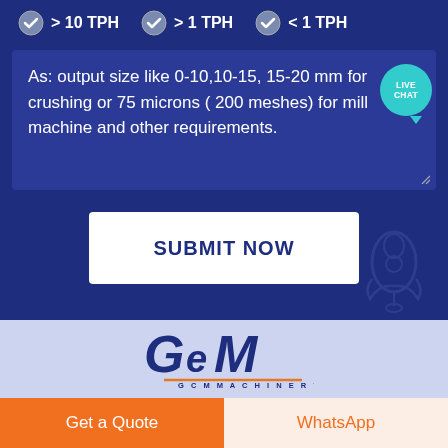> 10 TPH
> 1 TPH
< 1 TPH
As: output size like 0-10,10-15, 15-20 mm for crushing or 75 microns ( 200 meshes) for mill machine and other requirements.
SUBMIT NOW
[Figure (logo): GCM Machinery logo in dark blue with orange underline]
Get a Quote
WhatsApp